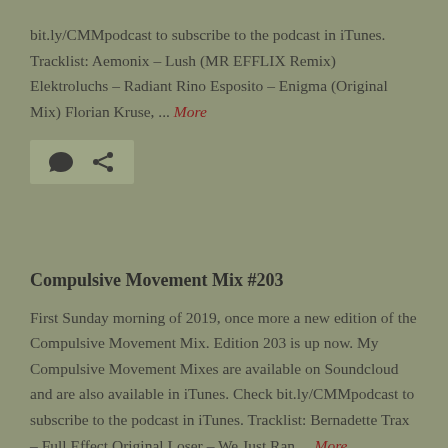bit.ly/CMMpodcast to subscribe to the podcast in iTunes. Tracklist: Aemonix – Lush (MR EFFLIX Remix) Elektroluchs – Radiant Rino Esposito – Enigma (Original Mix) Florian Kruse, ... More
[Figure (other): Icon bar with comment bubble icon and share/link icon on a muted green background]
Compulsive Movement Mix #203
First Sunday morning of 2019, once more a new edition of the Compulsive Movement Mix. Edition 203 is up now. My Compulsive Movement Mixes are available on Soundcloud and are also available in iTunes. Check bit.ly/CMMpodcast to subscribe to the podcast in iTunes. Tracklist: Bernadette Trax – Full Effect Original Loser – We Just Ran ... More